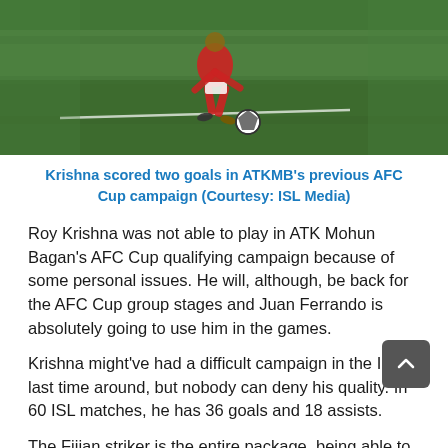[Figure (photo): A soccer/football player in red and white kit dribbling a ball on a green pitch, shot from behind/side angle showing legs and ball.]
Krishna scored two goals in ATKMB's previous AFC Cup campaign (Courtesy: ISL Media)
Roy Krishna was not able to play in ATK Mohun Bagan's AFC Cup qualifying campaign because of some personal issues. He will, although, be back for the AFC Cup group stages and Juan Ferrando is absolutely going to use him in the games.
Krishna might've had a difficult campaign in the ISL last time around, but nobody can deny his quality. In 60 ISL matches, he has 36 goals and 18 assists.
The Fijian striker is the entire package, being able to link up brilliantly, moving defenders out of positions to help teammates get into scoring